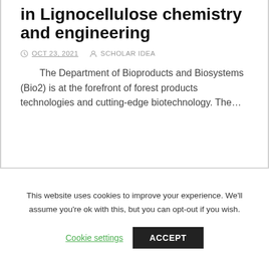in Lignocellulose chemistry and engineering
OCT 23, 2021   SCHOLAR IDEA
The Department of Bioproducts and Biosystems (Bio2) is at the forefront of forest products technologies and cutting-edge biotechnology. The…
This website uses cookies to improve your experience. We'll assume you're ok with this, but you can opt-out if you wish.
Cookie settings   ACCEPT